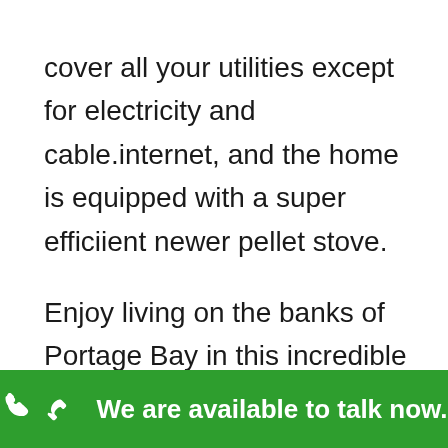cover all your utilities except for electricity and cable.internet, and the home is equipped with a super efficiient newer pellet stove.

Enjoy living on the banks of Portage Bay in this incredible part of town. So close to Little Lago, that the lovely smalls of their wood fired pizza and hand made espresso drinks billow through the air when the gentle
We are available to talk now.